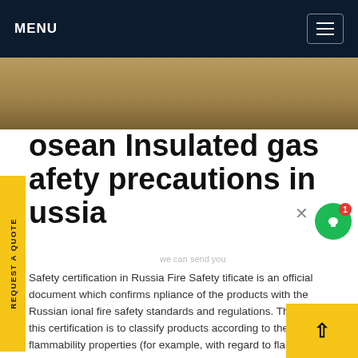MENU
[Figure (photo): Close-up photo of insulated gas pipes or cables on sandy/earthy surface]
osean Insulated gas afety precautions in ussia
Safety certification in Russia Fire Safety tificate is an official document which confirms npliance of the products with the Russian ional fire safety standards and regulations. The pose of this certification is to classify products according to their flammability properties (for example, with regard to flammability, production of toxic substances in the event of fire etc.).Get price